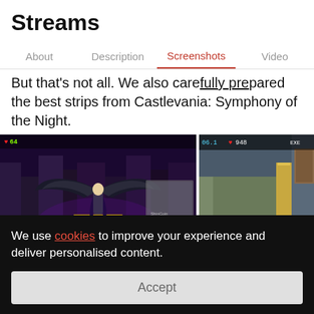Streams
About   Description   Screenshots   Video
But that's not all. We also carefully prepared the best strips from Castlevania: Symphony of the Night.
[Figure (screenshot): Two screenshots from Castlevania: Symphony of the Night gameplay showing castle scenes with game HUD elements]
We use cookies to improve your experience and deliver personalised content.
Accept